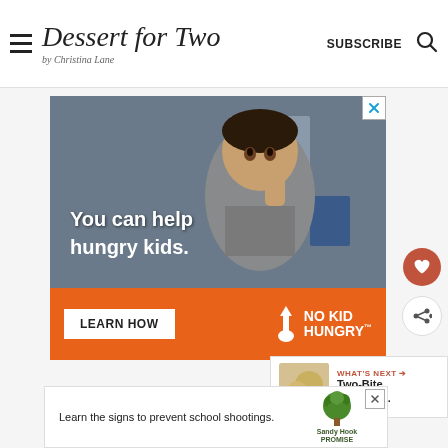Dessert for Two by Christina Lane | SUBSCRIBE
[Figure (photo): Advertisement for No Kid Hungry showing a young boy eating, with text 'You can help hungry kids.' and a 'LEARN HOW' button on an orange bar with No Kid Hungry logo]
[Figure (photo): Advertisement for Sandy Hook Promise: 'Learn the signs to prevent school shootings.' with Sandy Hook Promise tree logo]